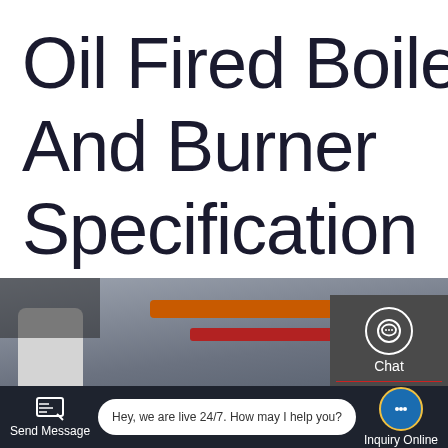Oil Fired Boiler And Burner Specification
[Figure (photo): Industrial boiler room with orange and red pipes, tanks, and machinery visible]
Chat
Email
Contact
Send Message
Hey, we are live 24/7. How may I help you?
Inquiry Online